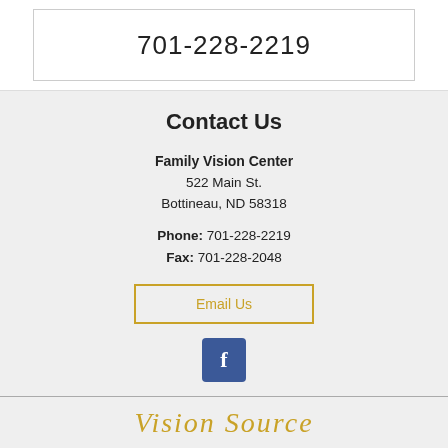701-228-2219
Contact Us
Family Vision Center
522 Main St.
Bottineau, ND 58318
Phone: 701-228-2219
Fax: 701-228-2048
Email Us
[Figure (logo): Facebook logo icon - blue square with white 'f']
[Figure (logo): Vision Source logo in gold/yellow cursive script]